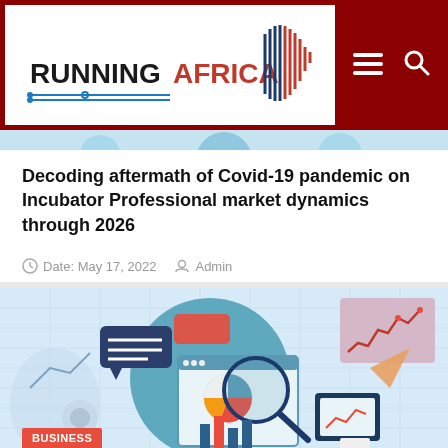[Figure (logo): Running Africa logo with stylized Africa continent graphic, text RUNNINGAFRICA in black and red]
Decoding aftermath of Covid-19 pandemic on Incubator Professional market dynamics through 2026
Date: May 17, 2022  Admin
[Figure (illustration): Business market research illustration with magnifying glass over pie chart, bar charts, chat bubbles, graphs, and a person's hand holding a device. BUSINESS label at bottom.]